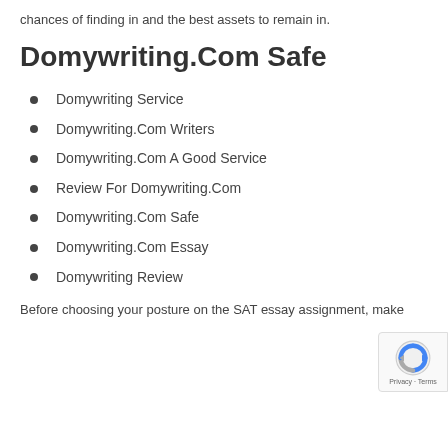chances of finding in and the best assets to remain in.
Domywriting.Com Safe
Domywriting Service
Domywriting.Com Writers
Domywriting.Com A Good Service
Review For Domywriting.Com
Domywriting.Com Safe
Domywriting.Com Essay
Domywriting Review
Before choosing your posture on the SAT essay assignment, make